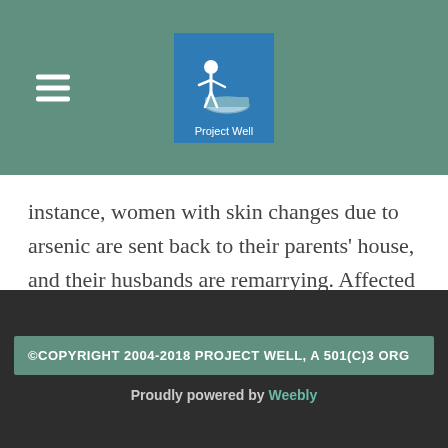Project Well
instance, women with skin changes due to arsenic are sent back to their parents' house, and their husbands are remarrying. Affected families are being isolated. People consider arsenic poisoning symptoms a 'curse'.
©COPYRIGHT 2004-2018 PROJECT WELL, A 501(C)3 ORG
Proudly powered by Weebly